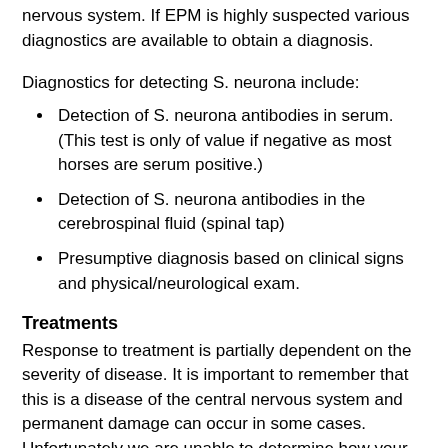nervous system. If EPM is highly suspected various diagnostics are available to obtain a diagnosis.
Diagnostics for detecting S. neurona include:
Detection of S. neurona antibodies in serum. (This test is only of value if negative as most horses are serum positive.)
Detection of S. neurona antibodies in the cerebrospinal fluid (spinal tap)
Presumptive diagnosis based on clinical signs and physical/neurological exam.
Treatments
Response to treatment is partially dependent on the severity of disease. It is important to remember that this is a disease of the central nervous system and permanent damage can occur in some cases. Unfortunately we are unable to determine how your horse may respond to treatment.